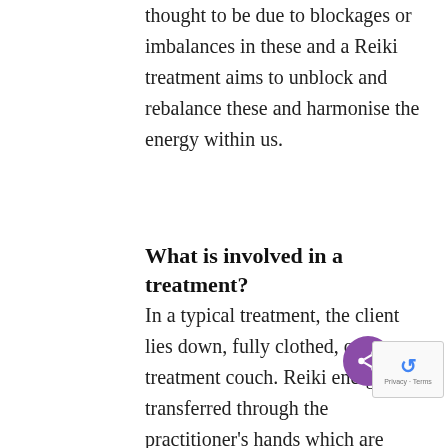thought to be due to blockages or imbalances in these and a Reiki treatment aims to unblock and rebalance these and harmonise the energy within us.
What is involved in a treatment?
In a typical treatment, the client lies down, fully clothed, on a treatment couch. Reiki energy is transferred through the practitioner's hands which are placed in set positions. Each